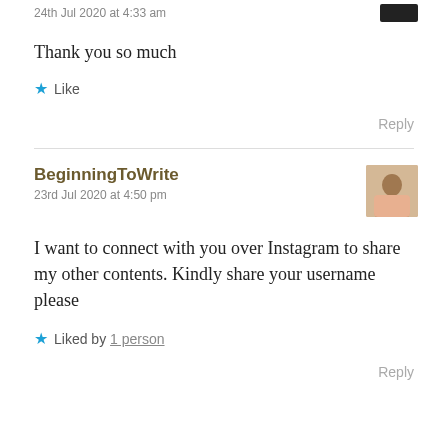24th Jul 2020 at 4:33 am
Thank you so much
★ Like
Reply
BeginningToWrite
23rd Jul 2020 at 4:50 pm
I want to connect with you over Instagram to share my other contents. Kindly share your username please
★ Liked by 1 person
Reply